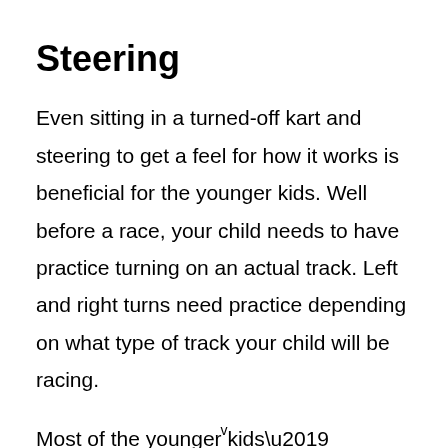Steering
Even sitting in a turned-off kart and steering to get a feel for how it works is beneficial for the younger kids. Well before a race, your child needs to have practice turning on an actual track. Left and right turns need practice depending on what type of track your child will be racing.
Most of the younger kids’ “races” are more of a practice type of event anyway. It would help if you still had your child practice before being on track with other kids. It is not 100% safe without having done…
v